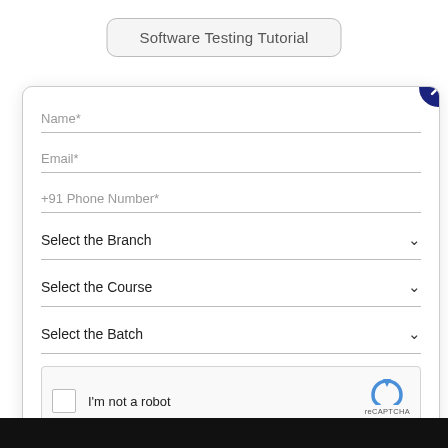Software Testing Tutorial
[Figure (screenshot): A web form modal with fields for Name*, Email*, +91 Phone Number*, dropdowns for Select the Branch, Select the Course, Select the Batch, a reCAPTCHA widget, and a close (X) button in dark navy.]